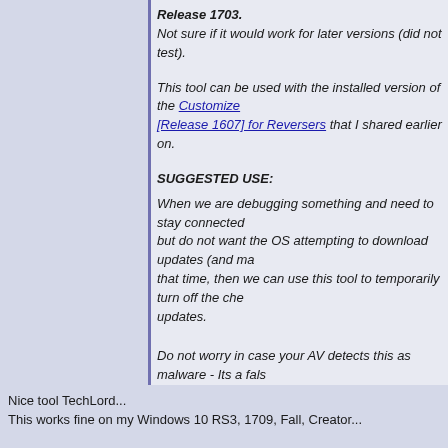Release 1703.
Not sure if it would work for later versions (did not test).
This tool can be used with the installed version of the Customized [Release 1607] for Reversers that I shared earlier on.
SUGGESTED USE:
When we are debugging something and need to stay connected but do not want the OS attempting to download updates (and ma- that time, then we can use this tool to temporarily turn off the che- updates.
Do not worry in case your AV detects this as malware - Its a fals-
Download:
SHA256:
4938d88398c30487b7d6de743b306ab016c153c05ba483bd14b
MD5 : 5960a804cd244005cb909b84a3515527
P.S:
Please do not use this tool to turn off the updates permanently a put your computer at risk 😊
Nice tool TechLord...
This works fine on my Windows 10 RS3, 1709, Fall, Creator...